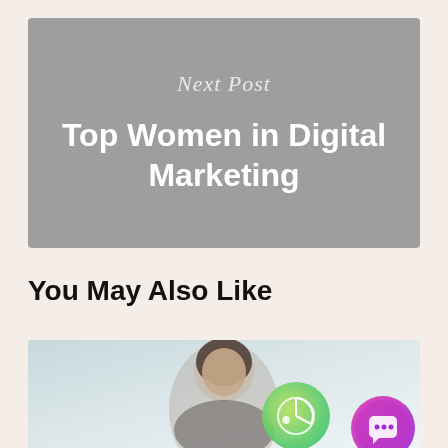[Figure (screenshot): Gray banner card with italic 'Next Post' label and bold white title 'Top Women in Digital Marketing']
You May Also Like
[Figure (photo): Photo of a smiling woman with a green gradient icon overlay and a purple/pink chat button in bottom right corner]